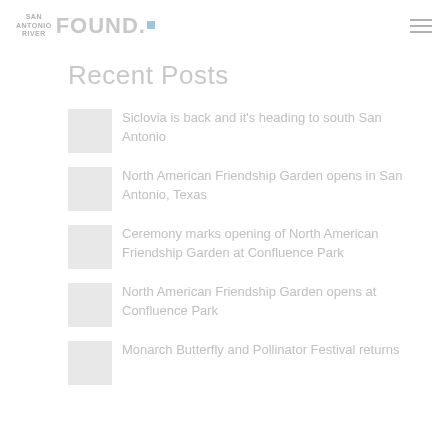San Antonio River Found.
Recent Posts
Siclovia is back and it's heading to south San Antonio
North American Friendship Garden opens in San Antonio, Texas
Ceremony marks opening of North American Friendship Garden at Confluence Park
North American Friendship Garden opens at Confluence Park
Monarch Butterfly and Pollinator Festival returns